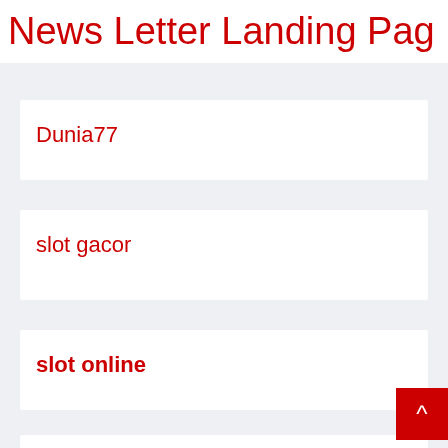News Letter Landing Pag
Dunia77
slot gacor
slot online
Gacor88